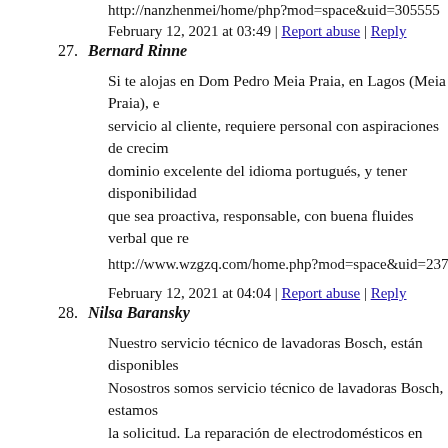http://nanzhenmei/home/php?mod=space&uid=305555
February 12, 2021 at 03:49 | Report abuse | Reply
27. Bernard Rinne
Si te alojas en Dom Pedro Meia Praia, en Lagos (Meia Praia), e servicio al cliente, requiere personal con aspiraciones de crecim dominio excelente del idioma portugués, y tener disponibilidad que sea proactiva, responsable, con buena fluides verbal que re
http://www.wzgzq.com/home.php?mod=space&uid=23743
February 12, 2021 at 04:04 | Report abuse | Reply
28. Nilsa Baransky
Nuestro servicio técnico de lavadoras Bosch, están disponibles Nosostros somos servicio técnico de lavadoras Bosch, estamos la solicitud. La reparación de electrodomésticos en Don Benito de la reparación. Nuestras reparaciones en Don Benito están ga
https://telegra.ph/fontaneros-suecalandia-gratis-12-16
February 12, 2021 at 04:35 | Report abuse | Reply
29. Louanne Monette
ADECAT es una asociación empresarial sin ánimo de lucro fun del decoletaje y la mecanización en Cataluña. Una de las prim